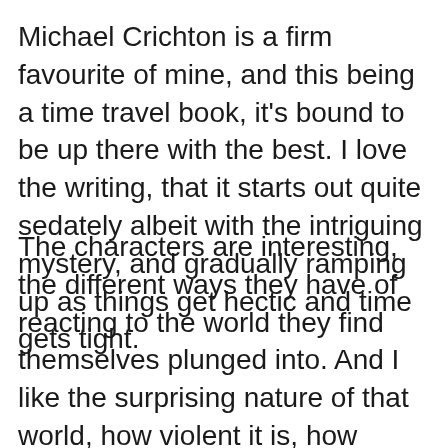Michael Crichton is a firm favourite of mine, and this being a time travel book, it’s bound to be up there with the best. I love the writing, that it starts out quite sedately albeit with the intriguing mystery, and gradually ramping up as things get hectic and time gets tight.
The characters are interesting, the different ways they have of reacting to the world they find themselves plunged into. And I like the surprising nature of that world, how violent it is, how poorly women are treated, how hard it is for the travellers to reconcile these things against what they had thought from the ruins. It’s just a fascinating glimpse of history layered on top of a great thrill ride of a story.